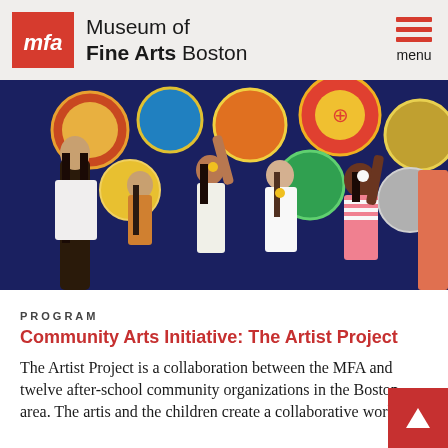Museum of Fine Arts Boston — menu
[Figure (photo): Children and an adult reaching up to touch a colorful mural with circular painted designs on a blue background]
PROGRAM
Community Arts Initiative: The Artist Project
The Artist Project is a collaboration between the MFA and twelve after-school community organizations in the Boston area. The artis and the children create a collaborative work